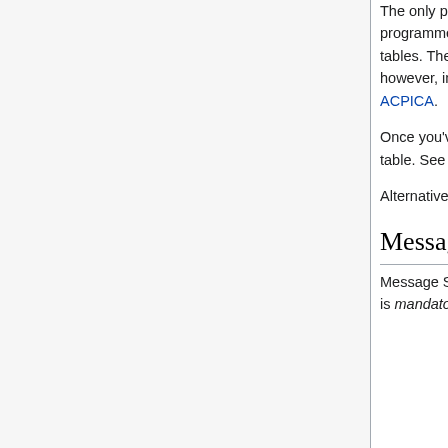The only problem is that the PCI pins correspond to an arbitrary I/O APIC pin. It's up to the programmer to find the mapping. How is that done? You must parse the MP Tables or the ACPI tables. The MP tables are easy, only they aren't supported on newer hardware. The ACPI tables, however, involve parsing AML, which is not an easy task. If one wants to take a shortcut, you can use ACPICA.
Once you've found the I/O APIC pin, all you do is map that to an IRQ using the I/O APIC redirection table. See the I/O APIC article for more information on this.
Alternatively, you could just use MSI or MSI-X, and skip complicated ACPI.
Message Signaled Interrupts
Message Signaled Interrupts, or MSI, have been supported since PCI 2.2. However, support for them is mandatory in PCIe devices, so you can be sure that they're